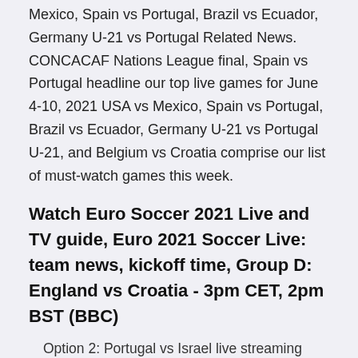Mexico, Spain vs Portugal, Brazil vs Ecuador, Germany U-21 vs Portugal Related News. CONCACAF Nations League final, Spain vs Portugal headline our top live games for June 4-10, 2021 USA vs Mexico, Spain vs Portugal, Brazil vs Ecuador, Germany U-21 vs Portugal U-21, and Belgium vs Croatia comprise our list of must-watch games this week.
Watch Euro Soccer 2021 Live and TV guide, Euro 2021 Soccer Live: team news, kickoff time, Group D: England vs Croatia - 3pm CET, 2pm BST (BBC)
Option 2: Portugal vs Israel live streaming from anywhere in the world If you are unable to access FuboTV , a VPN could help provide a solution. In our